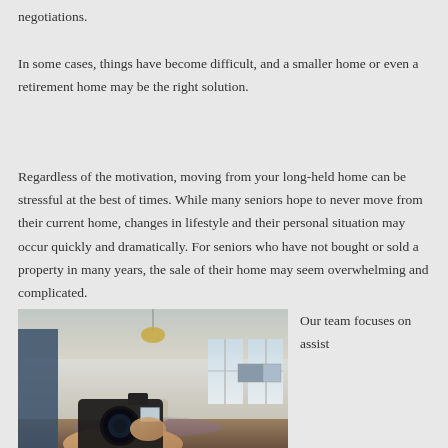negotiations.
In some cases, things have become difficult, and a smaller home or even a retirement home may be the right solution.
Regardless of the motivation, moving from your long-held home can be stressful at the best of times. While many seniors hope to never move from their current home, changes in lifestyle and their personal situation may occur quickly and dramatically. For seniors who have not bought or sold a property in many years, the sale of their home may seem overwhelming and complicated.
[Figure (photo): Person holding a camera photographing a bright, open-plan living room interior]
Our team focuses on assist